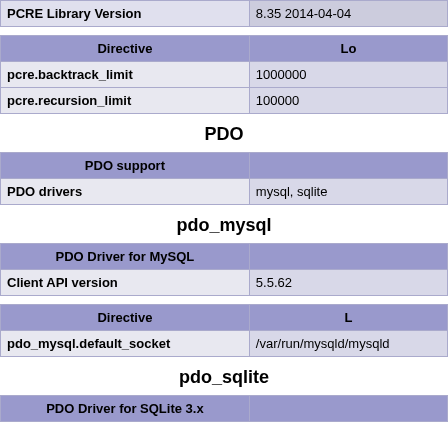| PCRE Library Version |  |
| --- | --- |
| PCRE Library Version | 8.35 2014-04-04 |
| Directive | Lo |
| --- | --- |
| pcre.backtrack_limit | 1000000 |
| pcre.recursion_limit | 100000 |
PDO
| PDO support |  |
| --- | --- |
| PDO drivers | mysql, sqlite |
pdo_mysql
| PDO Driver for MySQL |  |
| --- | --- |
| Client API version | 5.5.62 |
| Directive | L |
| --- | --- |
| pdo_mysql.default_socket | /var/run/mysqld/mysqld |
pdo_sqlite
| PDO Driver for SQLite 3.x |  |
| --- | --- |